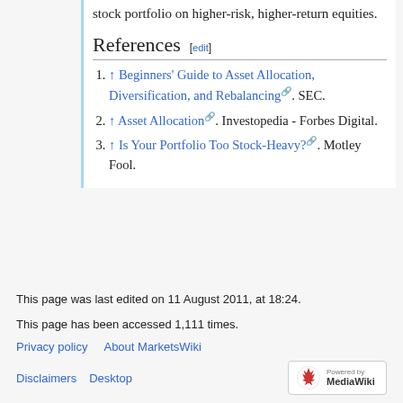stock portfolio on higher-risk, higher-return equities.
References [edit]
↑ Beginners' Guide to Asset Allocation, Diversification, and Rebalancing. SEC.
↑ Asset Allocation. Investopedia - Forbes Digital.
↑ Is Your Portfolio Too Stock-Heavy?. Motley Fool.
This page was last edited on 11 August 2011, at 18:24.
This page has been accessed 1,111 times.
Privacy policy   About MarketsWiki   Disclaimers   Desktop